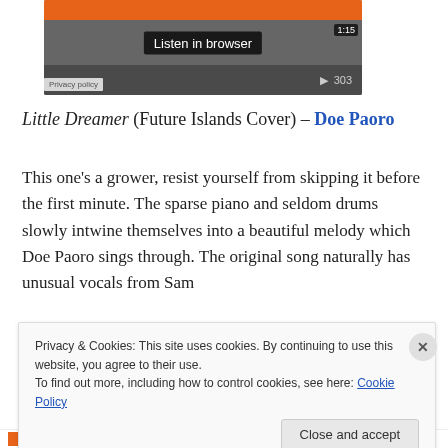[Figure (screenshot): Audio player widget with orange top bar, waveform display, 'Listen in browser' overlay label, '1:15' time badge, play button, and '303' play count. 'Privacy policy' label at bottom left.]
Little Dreamer (Future Islands Cover) – Doe Paoro
This one's a grower, resist yourself from skipping it before the first minute. The sparse piano and seldom drums slowly intwine themselves into a beautiful melody which Doe Paoro sings through. The original song naturally has unusual vocals from Sam
Privacy & Cookies: This site uses cookies. By continuing to use this website, you agree to their use.
To find out more, including how to control cookies, see here: Cookie Policy
Close and accept